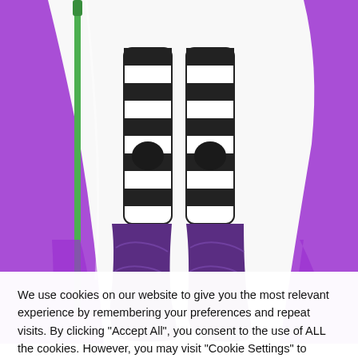[Figure (photo): Lower body of a toy action figure with black-and-white striped legs, purple boots, and a purple cape, holding a green staff. White background.]
Image source: Axel Giménez
Like many other 1987 figures, Scare Glow comes with some...
We use cookies on our website to give you the most relevant experience by remembering your preferences and repeat visits. By clicking "Accept All", you consent to the use of ALL the cookies. However, you may visit "Cookie Settings" to provide a controlled consent.